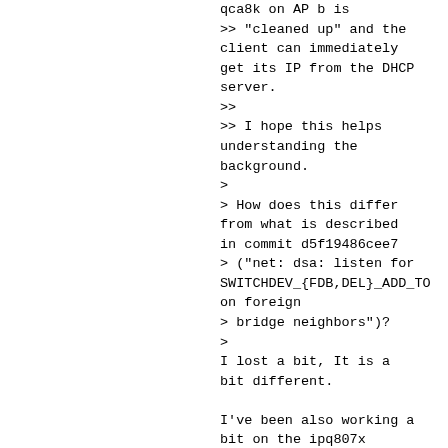qca8k on AP b is
>> "cleaned up" and the
client can immediately
get its IP from the DHCP
server.
>>
>> I hope this helps
understanding the
background.
>
> How does this differ
from what is described
in commit d5f19486cee7
> ("net: dsa: listen for
SWITCHDEV_{FDB,DEL}_ADD_TO
on foreign
> bridge neighbors")?
>
I lost a bit, It is a
bit different.

I've been also working a
bit on the ipq807x
device with such a
switch on
OpenWRT. There is a
backport of that commit.
To fix the problems
described
by d5f19486cee7, I